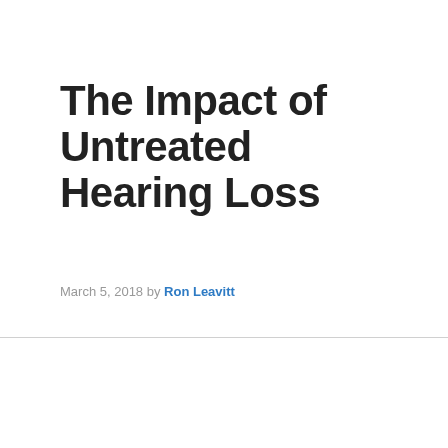The Impact of Untreated Hearing Loss
March 5, 2018 by Ron Leavitt
“Hearing loss is not a harmless condition to be ignored or left untreated. It has tremendous impact on your life, and if left